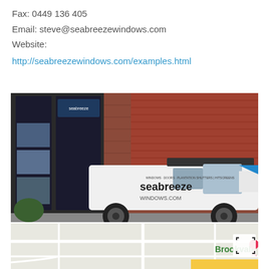Fax: 0449 136 405
Email: steve@seabreezewindows.com
Website:
http://seabreezewindows.com/examples.html
[Figure (photo): Seabreeze Windows shopfront with a white branded 4WD vehicle parked in front of a brick building with roller door. The vehicle has 'seabreeze WINDOWS.COM' branding.]
[Figure (map): Street map showing Brookvale area with a location pin marker and a fullscreen expand icon in the top right corner.]